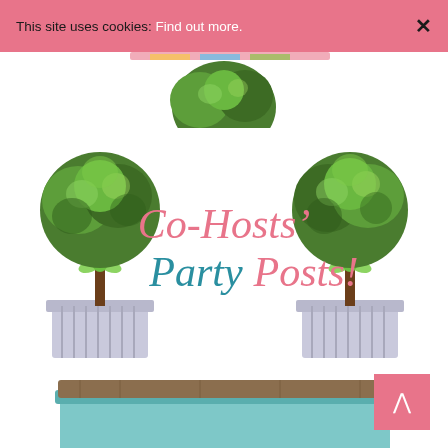This site uses cookies: Find out more. ×
[Figure (illustration): Illustrated topiary plant/tree centered at top, partially visible, with colorful banner above it]
[Figure (illustration): Two illustrated topiary plants in decorative pots on either side of centered text reading 'Co-Hosts' Party Posts!' in pink and teal script/handwriting style font]
[Figure (illustration): Bottom of page showing edge of a light blue piece of furniture, partially visible]